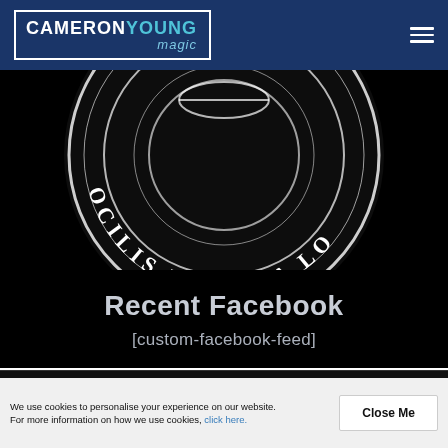CAMERON YOUNG magic
[Figure (logo): Circular seal/emblem with text 'OCILIS PRIVATA LO' (partial) around the rim on a black background]
Recent Facebook
[custom-facebook-feed]
© 2022 Cameron Young Magic. All Rights Reserved.
We use cookies to personalise your experience on our website. For more information on how we use cookies, click here.